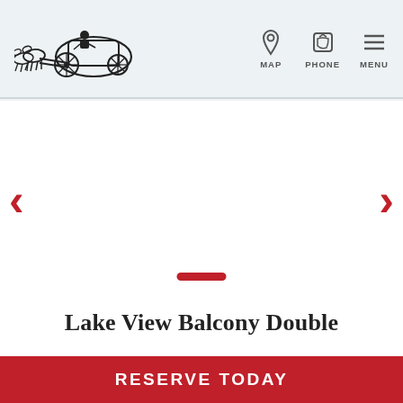[Figure (logo): Horse-drawn carriage logo in black and white]
[Figure (infographic): Navigation icons: MAP (pin icon), PHONE (old telephone icon), MENU (hamburger icon)]
[Figure (photo): Image slider area with left and right red chevron arrows and a red indicator dot at bottom center]
Lake View Balcony Double
Our site uses cookies and other technologies to provide the best browsing experience. By using this site, you agree to our cookie policy.
I Agree   CLOSE X
RESERVE TODAY